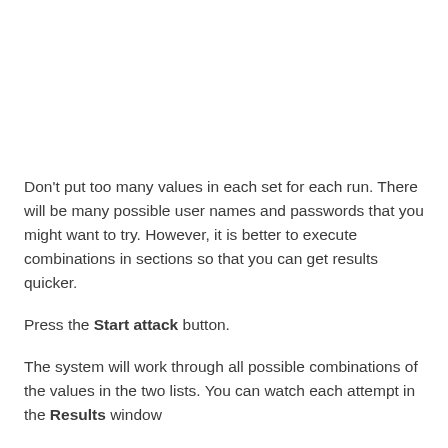Don't put too many values in each set for each run. There will be many possible user names and passwords that you might want to try. However, it is better to execute combinations in sections so that you can get results quicker.
Press the Start attack button.
The system will work through all possible combinations of the values in the two lists. You can watch each attempt in the Results window.